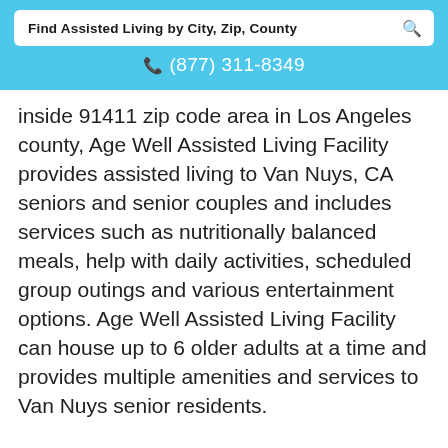Find Assisted Living by City, Zip, County
(877) 311-8349
inside 91411 zip code area in Los Angeles county, Age Well Assisted Living Facility provides assisted living to Van Nuys, CA seniors and senior couples and includes services such as nutritionally balanced meals, help with daily activities, scheduled group outings and various entertainment options. Age Well Assisted Living Facility can house up to 6 older adults at a time and provides multiple amenities and services to Van Nuys senior residents.
(877) 311-8744